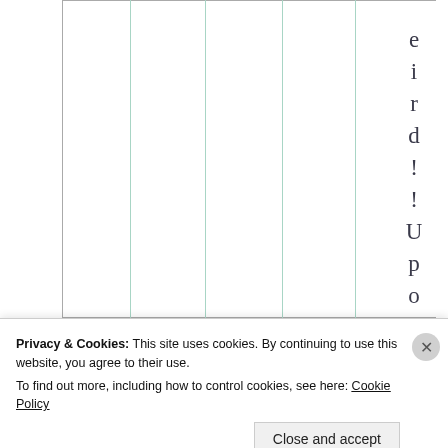|  |  |  |  |  |  |
e i r d ! ! U p o n
Privacy & Cookies: This site uses cookies. By continuing to use this website, you agree to their use.
To find out more, including how to control cookies, see here: Cookie Policy
Close and accept